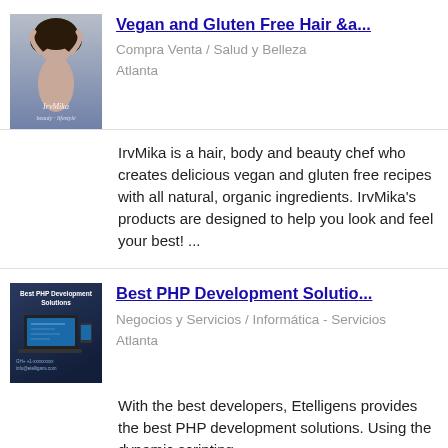[Figure (photo): IrvMika product/brand image showing a woman with curly hair posing with hands on head, gray/blue gradient background with text overlay 'IrvMika' and cursive text]
Vegan and Gluten Free Hair &a...
Compra Venta / Salud y Belleza
Atlanta
IrvMika is a hair, body and beauty chef who creates delicious vegan and gluten free recipes with all natural, organic ingredients. IrvMika's products are designed to help you look and feel your best! ...
[Figure (photo): Best PHP Development Solutions ad image with laptop computer, dark blue background, company logo and contact info for Etelligens]
Best PHP Development Solutio...
Negocios y Servicios / Informática - Servicios
Atlanta
With the best developers, Etelligens provides the best PHP development solutions. Using the dynamic scripting